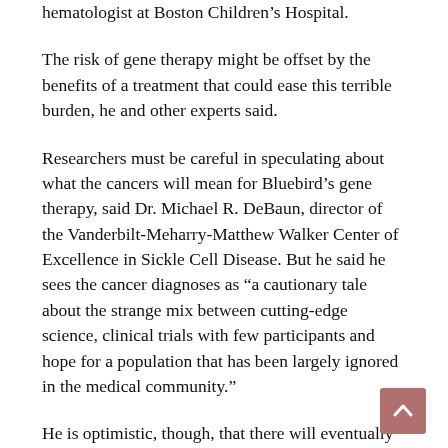hematologist at Boston Children's Hospital.
The risk of gene therapy might be offset by the benefits of a treatment that could ease this terrible burden, he and other experts said.
Researchers must be careful in speculating about what the cancers will mean for Bluebird's gene therapy, said Dr. Michael R. DeBaun, director of the Vanderbilt-Meharry-Matthew Walker Center of Excellence in Sickle Cell Disease. But he said he sees the cancer diagnoses as “a cautionary tale about the strange mix between cutting-edge science, clinical trials with few participants and hope for a population that has been largely ignored in the medical community.”
He is optimistic, though, that there will eventually be enough evidence for patients to make informed choices about curative therapies, including gene therapy and bone marrow transplants.
“At the end of the day, the families want the option to be cured of the disease,” Dr. DeBaun said. “They may not engage in the